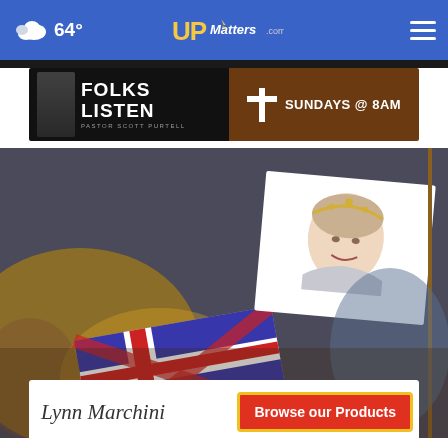☁ 64° — UPMatters.com — ☰
[Figure (screenshot): Advertisement banner: 'FOLKS LISTEN — PASTOR SCOTT PURTELL' on dark background left side, cross icon with 'SUNDAYS @ 8AM' on brown right side]
[Figure (photo): Photo of a person waving a British Union Jack flag and a white flag bearing a portrait of Queen Elizabeth II wearing a crown/tiara, with blurred crowd in background]
[Figure (screenshot): Advertisement banner: Lynn Marchini cursive signature on white left, 'Browse our Products' in white text on red button with gold border on right]
× (close button overlay)